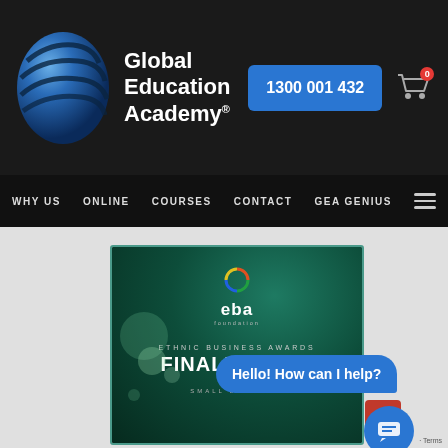[Figure (logo): Global Education Academy header with blue globe logo, brand name, phone button 1300 001 432, and cart icon]
WHY US   ONLINE   COURSES   CONTACT   GEA GENIUS
[Figure (photo): Ethnic Business Awards Finalist card with EBA foundation logo on dark teal background. Text: ETHNIC BUSINESS AWARDS FINALIST 2019 SMALL BUSINESS]
Hello! How can I help?